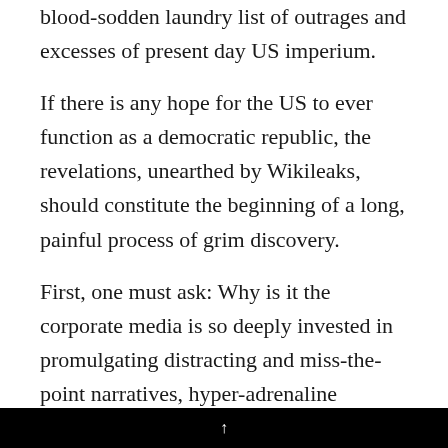blood-sodden laundry list of outrages and excesses of present day US imperium.
If there is any hope for the US to ever function as a democratic republic, the revelations, unearthed by Wikileaks, should constitute the beginning of a long, painful process of grim discovery.
First, one must ask: Why is it the corporate media is so deeply invested in promulgating distracting and miss-the-point narratives, hyper-adrenaline arguments of narrowed
↑